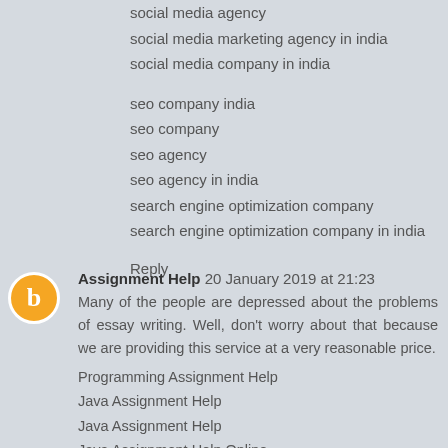social media agency
social media marketing agency in india
social media company in india
seo company india
seo company
seo agency
seo agency in india
search engine optimization company
search engine optimization company in india
Reply
Assignment Help 20 January 2019 at 21:23
Many of the people are depressed about the problems of essay writing. Well, don't worry about that because we are providing this service at a very reasonable price.
Programming Assignment Help
Java Assignment Help
Java Assignment Help
Java Assignment Help Online